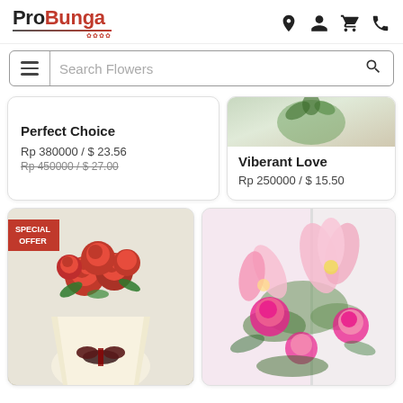ProBunga
Search Flowers
Perfect Choice
Rp 380000 / $ 23.56
Rp 450000 / $ 27.00
Viberant Love
Rp 250000 / $ 15.50
[Figure (photo): Red roses bouquet wrapped in white with dark ribbon, SPECIAL OFFER badge]
[Figure (photo): Pink lilies and roses bouquet on light background]